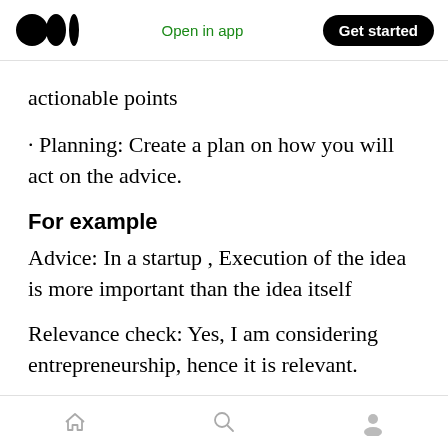Open in app  Get started
actionable points
· Planning: Create a plan on how you will act on the advice.
For example
Advice: In a startup , Execution of the idea is more important than the idea itself
Relevance check: Yes, I am considering entrepreneurship, hence it is relevant.
Actionable: What are the execution steps for the